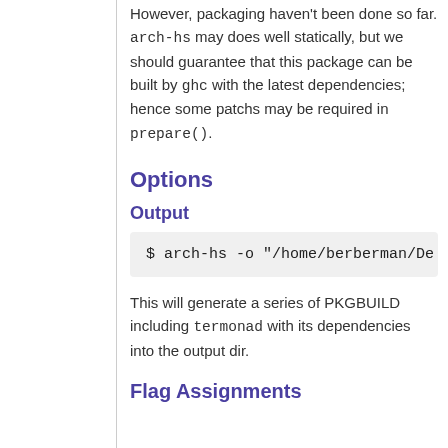However, packaging haven't been done so far. arch-hs may does well statically, but we should guarantee that this package can be built by ghc with the latest dependencies; hence some patchs may be required in prepare().
Options
Output
$ arch-hs -o "/home/berberman/De
This will generate a series of PKGBUILD including termonad with its dependencies into the output dir.
Flag Assignments